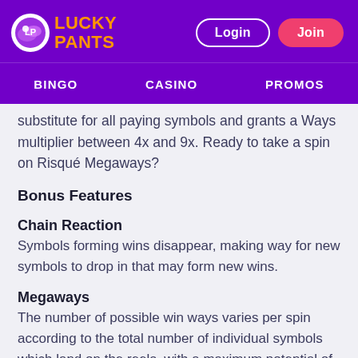[Figure (logo): Lucky Pants Bingo logo with purple and orange text and a circular icon]
BINGO   CASINO   PROMOS
substitute for all paying symbols and grants a Ways multiplier between 4x and 9x. Ready to take a spin on Risqué Megaways?
Bonus Features
Chain Reaction
Symbols forming wins disappear, making way for new symbols to drop in that may form new wins.
Megaways
The number of possible win ways varies per spin according to the total number of individual symbols which land on the reels, with a maximum potential of 321,489 MegaWays™ to win!